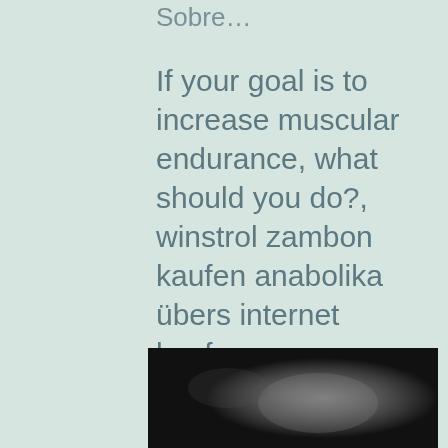Sobre…
If your goal is to increase muscular endurance, what should you do?, winstrol zambon kaufen anabolika übers internet kaufen
If your goal is to increase muscular endurance, what should you do?, winstrol zambon kaufen anabolika übers internet kaufen - Legale steroide zum verkauf
[Figure (photo): Dark blurred photo at the bottom of the page]